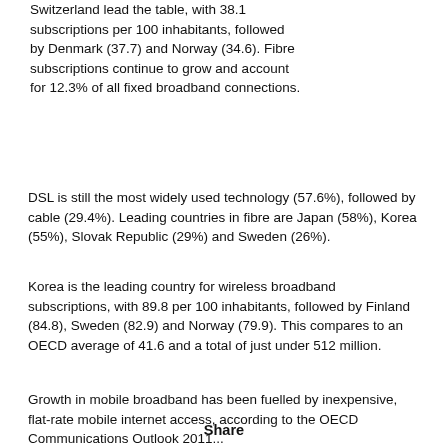Switzerland lead the table, with 38.1 subscriptions per 100 inhabitants, followed by Denmark (37.7) and Norway (34.6). Fibre subscriptions continue to grow and account for 12.3% of all fixed broadband connections.
DSL is still the most widely used technology (57.6%), followed by cable (29.4%). Leading countries in fibre are Japan (58%), Korea (55%), Slovak Republic (29%) and Sweden (26%).
Korea is the leading country for wireless broadband subscriptions, with 89.8 per 100 inhabitants, followed by Finland (84.8), Sweden (82.9) and Norway (79.9). This compares to an OECD average of 41.6 and a total of just under 512 million.
Growth in mobile broadband has been fuelled by inexpensive, flat-rate mobile internet access, according to the OECD Communications Outlook 2011...
Share